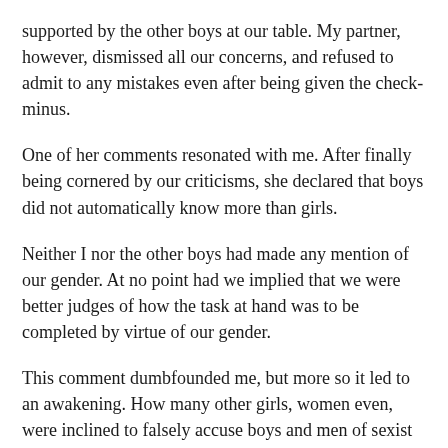supported by the other boys at our table. My partner, however, dismissed all our concerns, and refused to admit to any mistakes even after being given the check-minus.
One of her comments resonated with me. After finally being cornered by our criticisms, she declared that boys did not automatically know more than girls.
Neither I nor the other boys had made any mention of our gender. At no point had we implied that we were better judges of how the task at hand was to be completed by virtue of our gender.
This comment dumbfounded me, but more so it led to an awakening. How many other girls, women even, were inclined to falsely accuse boys and men of sexist thinking when facing criticism from them? It's a devious ploy, after all, as such an accusation is difficult to disprove.